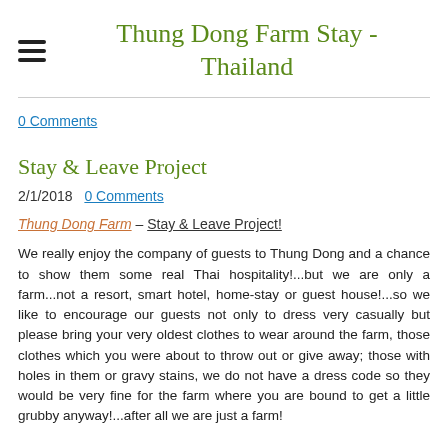Thung Dong Farm Stay - Thailand
0 Comments
Stay & Leave Project
2/1/2018  0 Comments
Thung Dong Farm – Stay & Leave Project!
We really enjoy the company of guests to Thung Dong and a chance to show them some real Thai hospitality!...but we are only a farm...not a resort, smart hotel, home-stay or guest house!...so we like to encourage our guests not only to dress very casually but please bring your very oldest clothes to wear around the farm, those clothes which you were about to throw out or give away; those with holes in them or gravy stains, we do not have a dress code so they would be very fine for the farm where you are bound to get a little grubby anyway!...after all we are just a farm!